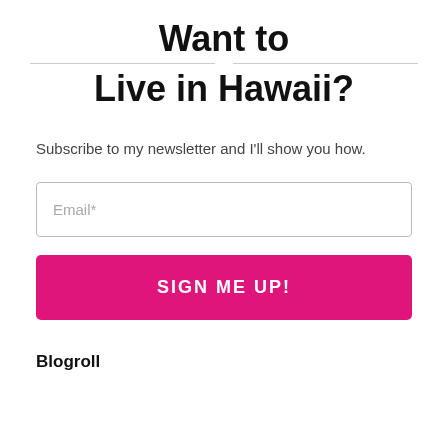Want to Live in Hawaii?
Subscribe to my newsletter and I'll show you how.
[Figure (other): Email input field with placeholder text 'Email*']
[Figure (other): Pink button labeled 'SIGN ME UP!']
Blogroll